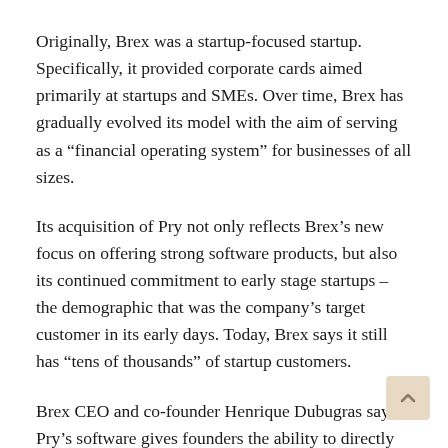Originally, Brex was a startup-focused startup. Specifically, it provided corporate cards aimed primarily at startups and SMEs. Over time, Brex has gradually evolved its model with the aim of serving as a “financial operating system” for businesses of all sizes.
Its acquisition of Pry not only reflects Brex’s new focus on offering strong software products, but also its continued commitment to early stage startups – the demographic that was the company’s target customer in its early days. Today, Brex says it still has “tens of thousands” of startup customers.
Brex CEO and co-founder Henrique Dubugras says Pry’s software gives founders the ability to directly connect their company’s bank accounts or integrate with QuickBooks or Xero to “immediately gain insight into workflows,” cash flow, burn rate, and track of their startups, track critical financial metrics, create a forward-looking financial plan, and model different future outcomes.